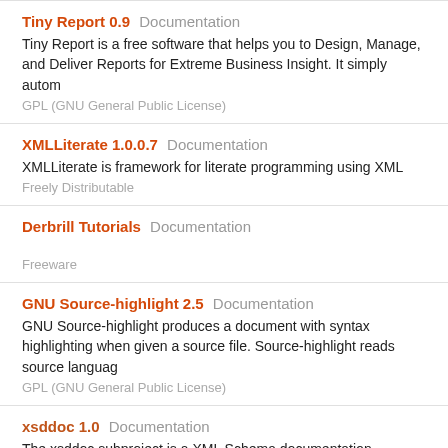Tiny Report 0.9 Documentation
Tiny Report is a free software that helps you to Design, Manage, and Deliver Reports for Extreme Business Insight. It simply autom
GPL (GNU General Public License)
XMLLiterate 1.0.0.7 Documentation
XMLLiterate is framework for literate programming using XML
Freely Distributable
Derbrill Tutorials Documentation

Freeware
GNU Source-highlight 2.5 Documentation
GNU Source-highlight produces a document with syntax highlighting when given a source file. Source-highlight reads source languag
GPL (GNU General Public License)
xsddoc 1.0 Documentation
The xsddoc subproject is a XML Schema documentation generator for W3C XML Schemas. The latest version of xsddoc is